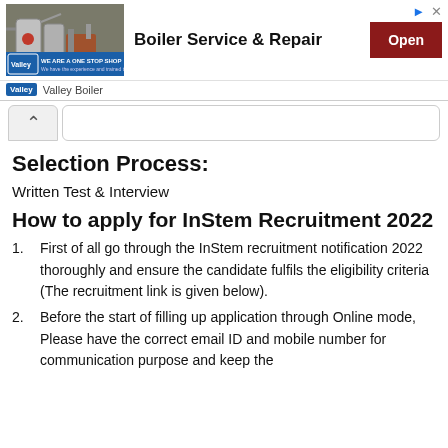[Figure (infographic): Advertisement banner for Valley Boiler Service & Repair showing industrial boiler image, company logo, tagline 'WE ARE A ONE STOP SHOP', bold text 'Boiler Service & Repair', and a red 'Open' button. Footer shows Valley Boiler branding.]
Selection Process:
Written Test & Interview
How to apply for InStem Recruitment 2022
First of all go through the InStem recruitment notification 2022 thoroughly and ensure the candidate fulfils the eligibility criteria (The recruitment link is given below).
Before the start of filling up application through Online mode, Please have the correct email ID and mobile number for communication purpose and keep the